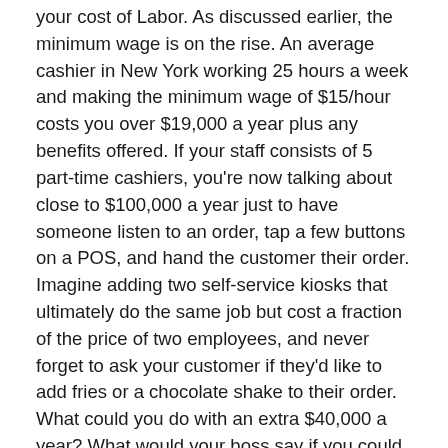your cost of Labor. As discussed earlier, the minimum wage is on the rise. An average cashier in New York working 25 hours a week and making the minimum wage of $15/hour costs you over $19,000 a year plus any benefits offered. If your staff consists of 5 part-time cashiers, you're now talking about close to $100,000 a year just to have someone listen to an order, tap a few buttons on a POS, and hand the customer their order. Imagine adding two self-service kiosks that ultimately do the same job but cost a fraction of the price of two employees, and never forget to ask your customer if they'd like to add fries or a chocolate shake to their order. What could you do with an extra $40,000 a year? What would your boss say if you could save them $40,000 a year per location and guarantee more upsell opportunities? I think you know the answer to both those questions.
Ah yes, the times, they are a-changin'. Minimum wage is only going to continue to increase, which will change the way your business is run. Couple that with the recurrence of customer